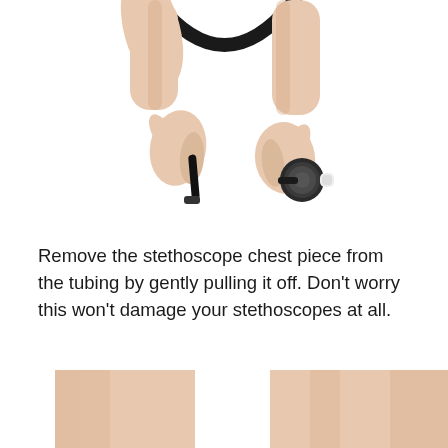[Figure (photo): Two hands connecting/disconnecting a stethoscope chest piece from its tubing against a white background. The black tubing curves in an arc above the hands. One hand holds the tube stem and the other holds the chest piece (diaphragm side).]
Remove the stethoscope chest piece from the tubing by gently pulling it off. Don't worry this won't damage your stethoscopes at all.
[Figure (photo): Bottom portion of a photo showing two forearms/hands against a white background, cropped at the bottom of the page — part of a continuation of a stethoscope cleaning instruction sequence.]